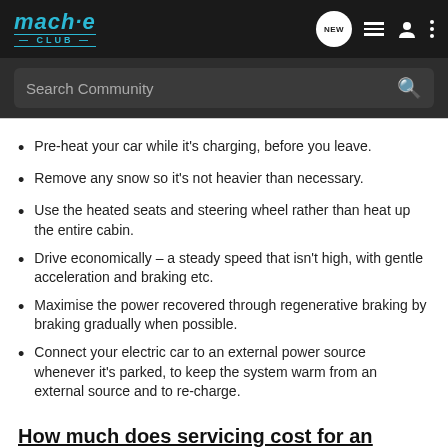mach-e CLUB — NEW [navigation icons]
Search Community
Pre-heat your car while it's charging, before you leave.
Remove any snow so it's not heavier than necessary.
Use the heated seats and steering wheel rather than heat up the entire cabin.
Drive economically – a steady speed that isn't high, with gentle acceleration and braking etc.
Maximise the power recovered through regenerative braking by braking gradually when possible.
Connect your electric car to an external power source whenever it's parked, to keep the system warm from an external source and to re-charge.
How much does servicing cost for an electric